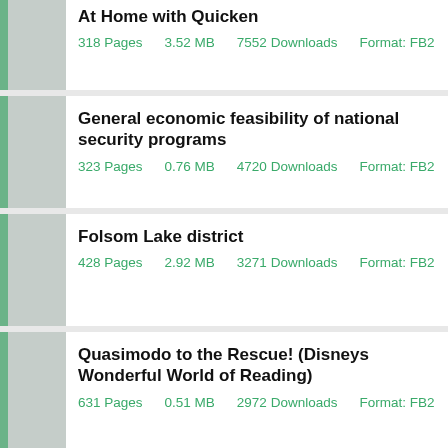At Home with Quicken | 318 Pages | 3.52 MB | 7552 Downloads | Format: FB2
General economic feasibility of national security programs | 323 Pages | 0.76 MB | 4720 Downloads | Format: FB2
Folsom Lake district | 428 Pages | 2.92 MB | 3271 Downloads | Format: FB2
Quasimodo to the Rescue! (Disneys Wonderful World of Reading) | 631 Pages | 0.51 MB | 2972 Downloads | Format: FB2